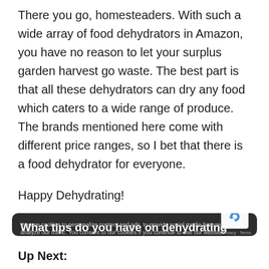There you go, homesteaders. With such a wide array of food dehydrators in Amazon, you have no reason to let your surplus garden harvest go waste. The best part is that all these dehydrators can dry any food which caters to a wide range of produce. The brands mentioned here come with different price ranges, so I bet that there is a food dehydrator for everyone.
Happy Dehydrating!
What tips do you have on dehydrating foods that you can share with beginners? Let us know in the comment section below!
We use cookies to personalize content and ads, to provide social media features and to analyze our traffic. You consent to our cookies if you continue to use our website.
Up Next: